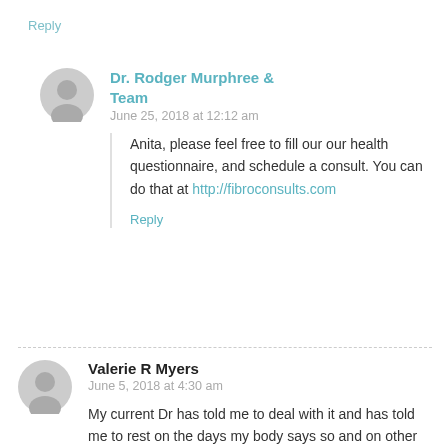Reply
Dr. Rodger Murphree & Team
June 25, 2018 at 12:12 am
Anita, please feel free to fill our our health questionnaire, and schedule a consult. You can do that at http://fibroconsults.com
Reply
Valerie R Myers
June 5, 2018 at 4:30 am
My current Dr has told me to deal with it and has told me to rest on the days my body says so and on other days just deal with it.